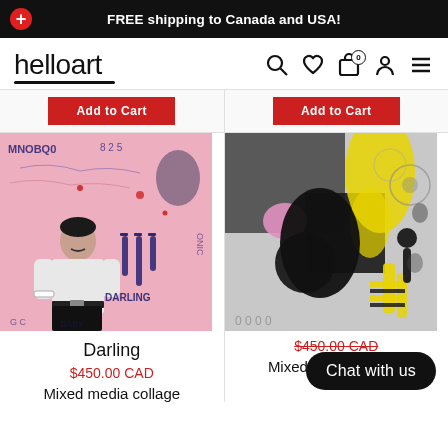FREE shipping to Canada and USA!
[Figure (logo): helloart logo with bold 'art' and underline]
Add to Cart (left column)
Add to Cart (right column)
[Figure (photo): Mixed media collage artwork titled Darling - pink background with man in white shirt, text and paint drips]
[Figure (photo): Mixed media collage artwork - dark abstract with yellow, black and pink paint splashes]
Darling
$450.00 CAD
$450.00 CAD
Mixed media collage
Mixed media collage
Chat with us